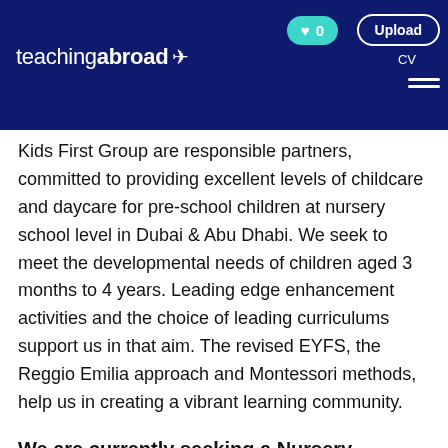teachingabroad →
Kids First Group are responsible partners, committed to providing excellent levels of childcare and daycare for pre-school children at nursery school level in Dubai & Abu Dhabi. We seek to meet the developmental needs of children aged 3 months to 4 years. Leading edge enhancement activities and the choice of leading curriculums support us in that aim. The revised EYFS, the Reggio Emilia approach and Montessori methods, help us in creating a vibrant learning community.
We are currently seeking a Nursery